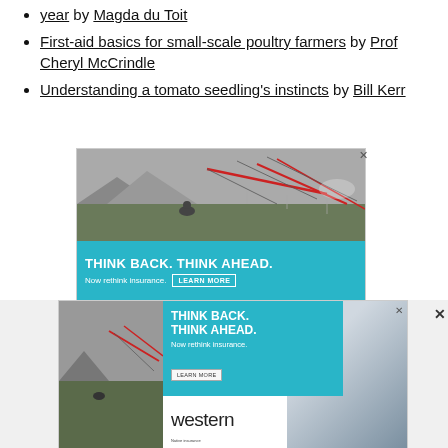year by Magda du Toit
First-aid basics for small-scale poultry farmers by Prof Cheryl McCrindle
Understanding a tomato seedling's instincts by Bill Kerr
[Figure (photo): Advertisement: Western insurance - 'Think Back. Think Ahead. Now rethink insurance.' with center-pivot irrigation system photo.]
[Figure (photo): Second overlapping advertisement: Western insurance - 'Think Back. Think Ahead. Now rethink insurance.' with partial center-pivot irrigation photo and 'western' logo text.]